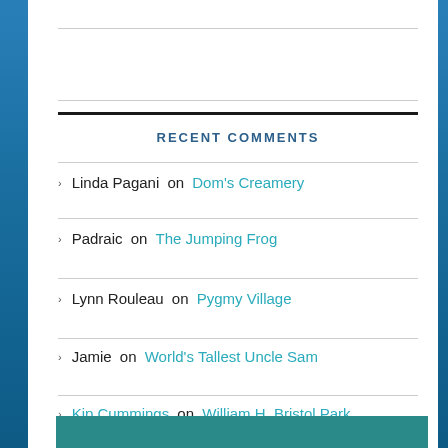RECENT COMMENTS
Linda Pagani on Dom's Creamery
Padraic on The Jumping Frog
Lynn Rouleau on Pygmy Village
Jamie on World's Tallest Uncle Sam
Kip Cummings on William H. Bristol Park